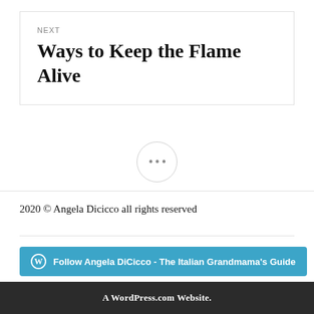NEXT
Ways to Keep the Flame Alive
[Figure (other): Circular button with three dots (ellipsis menu icon)]
2020 © Angela Dicicco all rights reserved
[Figure (other): Follow button: Follow Angela DiCicco - The Italian Grandmama's Guide]
A WordPress.com Website.